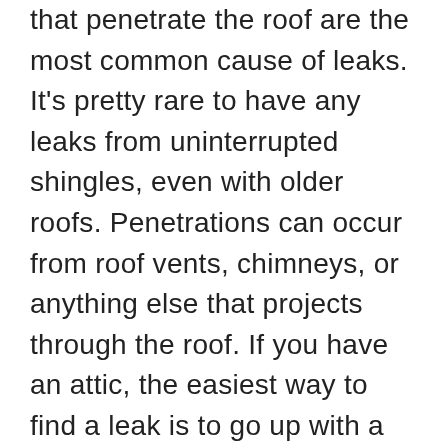that penetrate the roof are the most common cause of leaks. It's pretty rare to have any leaks from uninterrupted shingles, even with older roofs. Penetrations can occur from roof vents, chimneys, or anything else that projects through the roof. If you have an attic, the easiest way to find a leak is to go up with a flashlight and look for the evidence. There definitely would be water stains, black marks, or mold. However, if there is an issue with getting into the attic your best bet is to go up the roof and examine the issue. Sometimes there are leaks that are difficult to find, however, you can find it by first having someone help with a garden hose on the roof. Start by soaking the area above where the leak